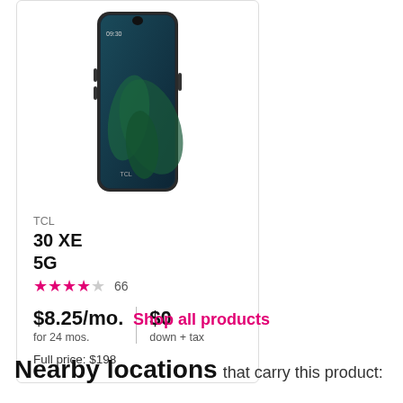[Figure (photo): Front view of TCL 30 XE 5G smartphone with teal/dark green color and teardrop notch display]
TCL
30 XE 5G
★★★½☆ 66
$8.25/mo. for 24 mos. | $0 down + tax
Full price: $198
Shop all products
Nearby locations that carry this product: